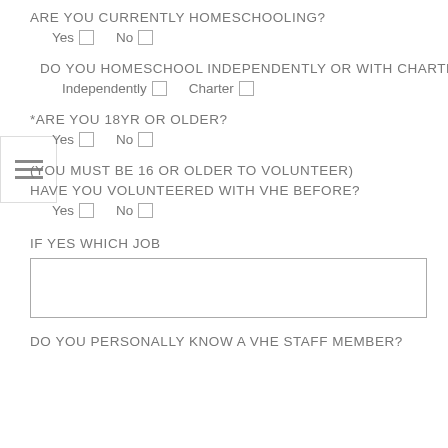ARE YOU CURRENTLY HOMESCHOOLING?
Yes  No
DO YOU HOMESCHOOL INDEPENDENTLY OR WITH CHARTER?
Independently  Charter
*ARE YOU 18YR OR OLDER?
Yes  No
(YOU MUST BE 16 OR OLDER TO VOLUNTEER)
HAVE YOU VOLUNTEERED WITH VHE BEFORE?
Yes  No
IF YES WHICH JOB
DO YOU PERSONALLY KNOW A VHE STAFF MEMBER?